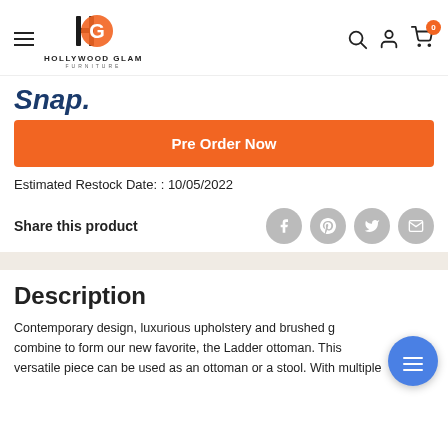[Figure (logo): Hollywood Glam Furniture logo with stylized H and orange G letterform]
Snap.
Pre Order Now
Estimated Restock Date: : 10/05/2022
Share this product
Description
Contemporary design, luxurious upholstery and brushed g combine to form our new favorite, the Ladder ottoman. This versatile piece can be used as an ottoman or a stool. With multiple